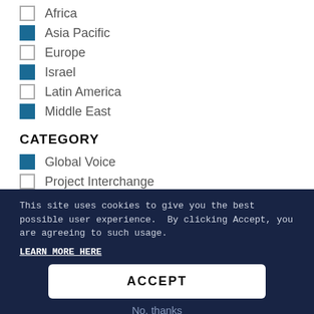Africa
Asia Pacific
Europe
Israel
Latin America
Middle East
CATEGORY
Global Voice
Project Interchange
This site uses cookies to give you the best possible user experience.  By clicking Accept, you are agreeing to such usage.
LEARN MORE HERE
ACCEPT
No, thanks